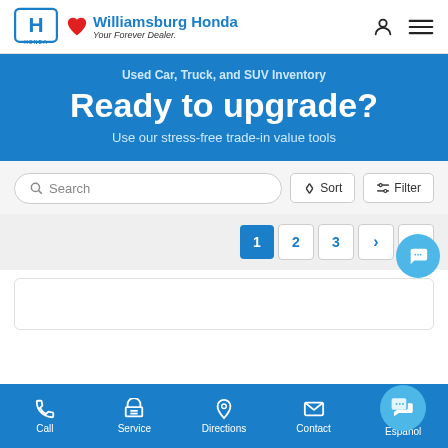Williamsburg Honda — Your Forever Dealer.
Used Car, Truck, and SUV Inventory
Ready to upgrade?
Use our stress-free trade-in value tools
Search
Sort  Filter
1  2  3  ›  »
Call  Service  Directions  Contact  Español